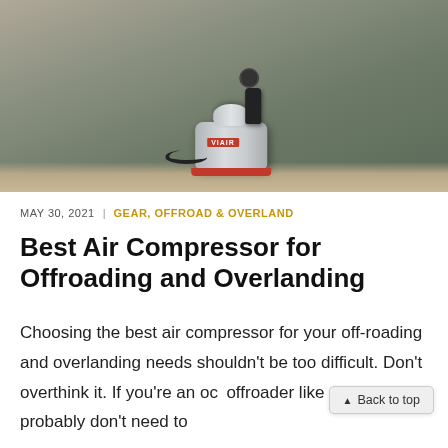[Figure (photo): A VIAIR brand portable air compressor (silver cylinder with red base and black handle/gauge) resting on sandy ground near a large tire, outdoors.]
MAY 30, 2021 | GEAR, OFFROAD & OVERLAND
Best Air Compressor for Offroading and Overlanding
Choosing the best air compressor for your off-roading and overlanding needs shouldn't be too difficult. Don't overthink it. If you're an occasional offroader like me then you probably don't need to